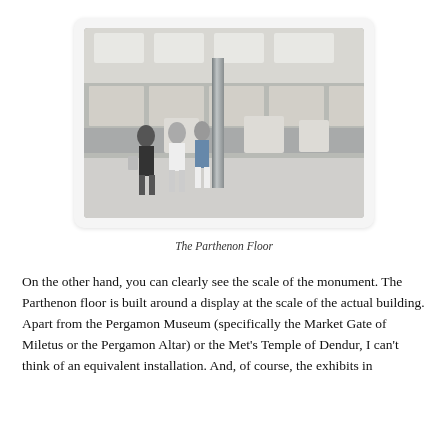[Figure (photo): Interior of a museum gallery showing ancient marble friezes mounted on walls, stone sculptures on pedestals, and visitors walking through the space. The room has modern steel columns and bright lighting. Identified as the Parthenon Floor.]
The Parthenon Floor
On the other hand, you can clearly see the scale of the monument. The Parthenon floor is built around a display at the scale of the actual building. Apart from the Pergamon Museum (specifically the Market Gate of Miletus or the Pergamon Altar) or the Met's Temple of Dendur, I can't think of an equivalent installation. And, of course, the exhibits in